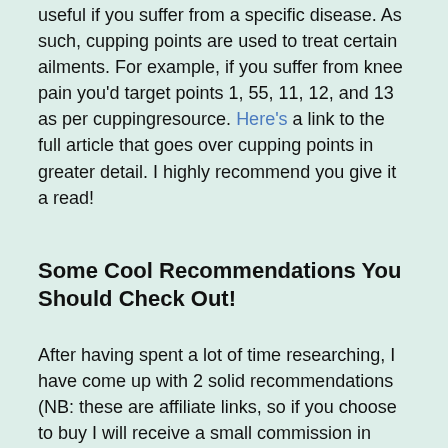useful if you suffer from a specific disease. As such, cupping points are used to treat certain ailments. For example, if you suffer from knee pain you'd target points 1, 55, 11, 12, and 13 as per cuppingresource. Here's a link to the full article that goes over cupping points in greater detail. I highly recommend you give it a read!
Some Cool Recommendations You Should Check Out!
After having spent a lot of time researching, I have come up with 2 solid recommendations (NB: these are affiliate links, so if you choose to buy I will receive a small commission in return). Without further ado!
#1 Hansol Cupping Therapy Equipment Set With Pumping Handle